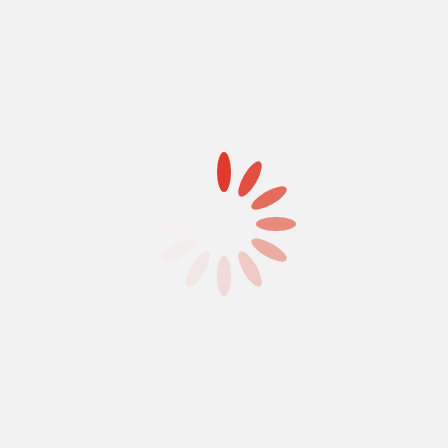[Figure (illustration): A loading spinner graphic composed of 12 oval/ellipse shapes arranged in a circle. The ellipses transition from deep red/coral at the right side to very light pink/nearly white at the bottom-left, creating a clock-wise gradient fade effect typical of a loading indicator.]